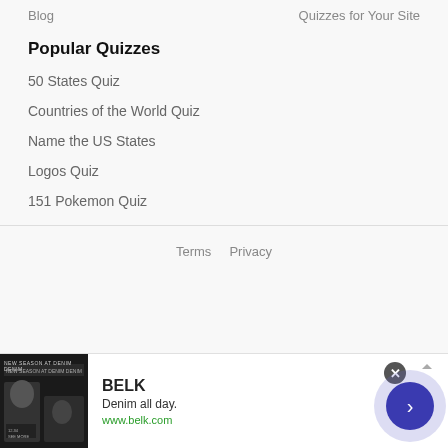Blog
Quizzes for Your Site
Popular Quizzes
50 States Quiz
Countries of the World Quiz
Name the US States
Logos Quiz
151 Pokemon Quiz
Terms   Privacy
[Figure (screenshot): Advertisement banner for BELK with tagline 'Denim all day.' and URL www.belk.com, with a close button and navigation arrow.]